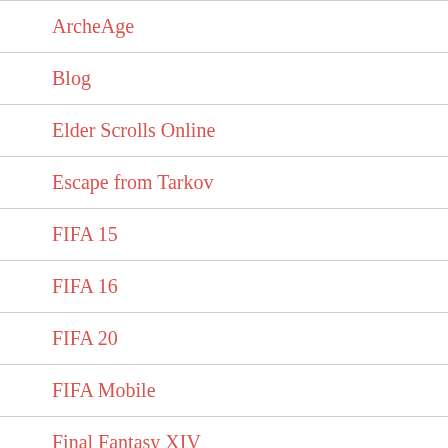ArcheAge
Blog
Elder Scrolls Online
Escape from Tarkov
FIFA 15
FIFA 16
FIFA 20
FIFA Mobile
Final Fantasy XIV